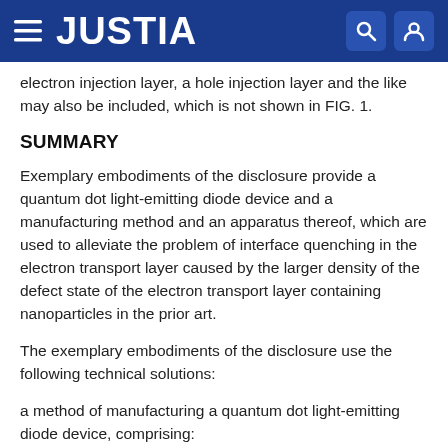JUSTIA
electron injection layer, a hole injection layer and the like may also be included, which is not shown in FIG. 1.
SUMMARY
Exemplary embodiments of the disclosure provide a quantum dot light-emitting diode device and a manufacturing method and an apparatus thereof, which are used to alleviate the problem of interface quenching in the electron transport layer caused by the larger density of the defect state of the electron transport layer containing nanoparticles in the prior art.
The exemplary embodiments of the disclosure use the following technical solutions:
a method of manufacturing a quantum dot light-emitting diode device, comprising: